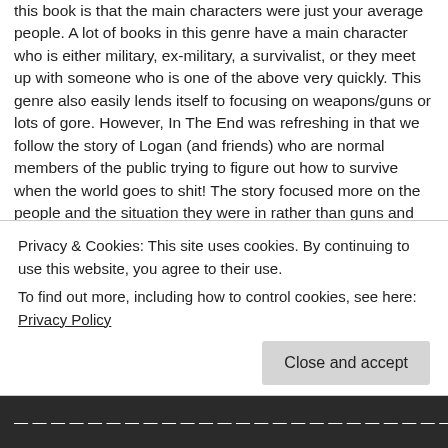this book is that the main characters were just your average people. A lot of books in this genre have a main character who is either military, ex-military, a survivalist, or they meet up with someone who is one of the above very quickly. This genre also easily lends itself to focusing on weapons/guns or lots of gore. However, In The End was refreshing in that we follow the story of Logan (and friends) who are normal members of the public trying to figure out how to survive when the world goes to shit! The story focused more on the people and the situation they were in rather than guns and gore (obviously theres some of those things as it's a zombie book). I also really enjoyed the short chapters that kept you wanting to read more and kept the story moving quickly. And as readers we don't have to wait too long until the action starts – page 23 the first zombie makes it's appearance!
If you've never read zombie fiction before then I'd say this is a good book to start with, and seasoned...
Privacy & Cookies: This site uses cookies. By continuing to use this website, you agree to their use.
To find out more, including how to control cookies, see here: Privacy Policy
Close and accept